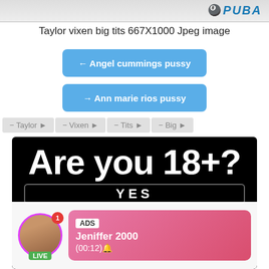PUBA
Taylor vixen big tits 667X1000 Jpeg image
← Angel cummings pussy
→ Ann marie rios pussy
Taylor  Vixen  Tits  Big
[Figure (screenshot): Age verification ad overlay showing 'Are you 18+?' text with a live stream notification from Jeniffer 2000 (00:12) and a YES button at bottom]